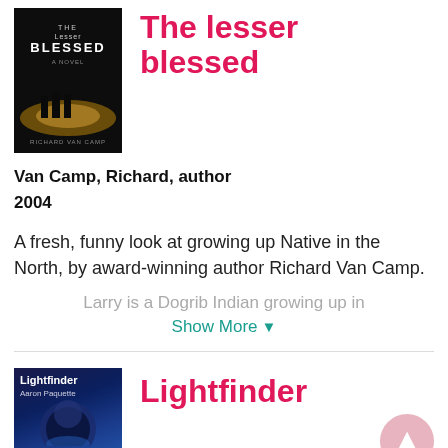[Figure (illustration): Book cover of 'The Lesser Blessed' — dark cover with silhouette figures and light, text 'THE LESSER BLESSED A NOVEL' and author name at bottom]
The lesser blessed
Van Camp, Richard, author
2004
A fresh, funny look at growing up Native in the North, by award-winning author Richard Van Camp.
Larry is a Dogrib Indian growing up in
Show More
[Figure (illustration): Book cover of 'Lightfinder' by Aaron Paquette — dark blue cover with moon/Earth imagery]
Lightfinder